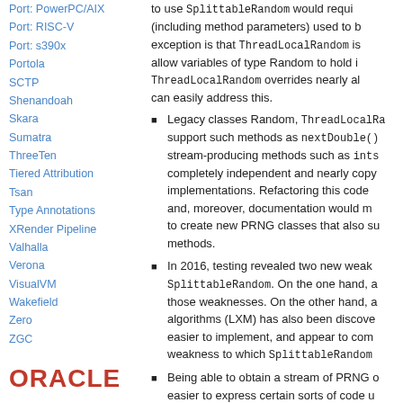Port: PowerPC/AIX
Port: RISC-V
Port: s390x
Portola
SCTP
Shenandoah
Skara
Sumatra
ThreeTen
Tiered Attribution
Tsan
Type Annotations
XRender Pipeline
Valhalla
Verona
VisualVM
Wakefield
Zero
ZGC
[Figure (logo): Oracle logo in red bold text]
to use SplittableRandom would require (including method parameters) used to be exception is that ThreadLocalRandom is allow variables of type Random to hold in ThreadLocalRandom overrides nearly all can easily address this.
Legacy classes Random, ThreadLocalRandom support such methods as nextDouble() stream-producing methods such as ints() completely independent and nearly copy implementations. Refactoring this code and, moreover, documentation would make to create new PRNG classes that also support methods.
In 2016, testing revealed two new weaknesses in SplittableRandom. On the one hand, a those weaknesses. On the other hand, a new algorithms (LXM) has also been discovered easier to implement, and appear to come weakness to which SplittableRandom
Being able to obtain a stream of PRNG objects easier to express certain sorts of code using
There are many PRNG algorithms in the